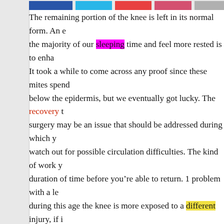[Figure (other): Navigation tab bar with colored tabs: blue, cyan, red, pink, gray]
The remaining portion of the knee is left in its normal form. An e the majority of our sleeping time and feel more rested is to enha It took a while to come across any proof since these mites spend below the epidermis, but we eventually got lucky. The recovery t surgery may be an issue that should be addressed during which y watch out for possible circulation difficulties. The kind of work y duration of time before you're able to return. 1 problem with a le during this age the knee is more exposed to a different injury, if i
A couple of days after, exercises are advised to strengthen the leg do these exercises, you will definitely find some improvement. C number of the exercises more beneficial than others. The strengt definitely the most popular procedures of treating knees, they're have a number of the best success prices. The strength-building e those who have undergone an entire knee reconstruction. Afterw have some weight to lose, it can aid your knee significantly in th receive some a lot of weight off. Though the weight of someone dependent on the size of the knee and the patient, they simply we